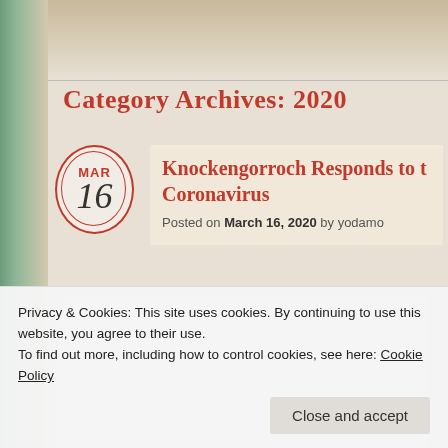Category Archives: 2020
Knockengorroch Responds to the Coronavirus
Posted on March 16, 2020 by yodamo
Privacy & Cookies: This site uses cookies. By continuing to use this website, you agree to their use.
To find out more, including how to control cookies, see here: Cookie Policy
Close and accept